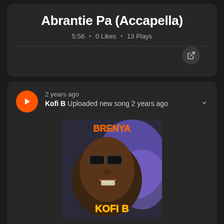Abrantie Pa (Accapella)
5:56 • 0 Likes • 13 Plays
2 years ago
Kofi B Uploaded new song 2 years ago
[Figure (photo): Album art for Brenya by Kofi B — photo of a man smiling wearing sunglasses, with 'BRENYA' text in orange/red and 'KOFI B' text in yellow at the bottom]
Brenya
5:01 • 0 Likes • 13 Plays